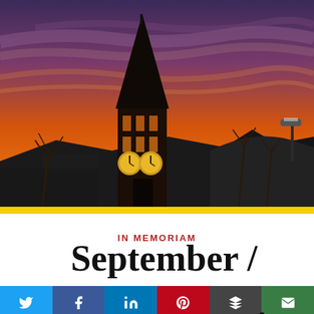[Figure (photo): Cornell University McGraw Tower clock tower silhouetted against a dramatic orange and red sunset sky, with bare winter trees and dark rooftops visible in the foreground.]
IN MEMORIAM
September / October .
[Figure (infographic): Social media sharing bar with buttons for Twitter, Facebook, LinkedIn, Pinterest, Buffer/layers, and Email (envelope icon).]